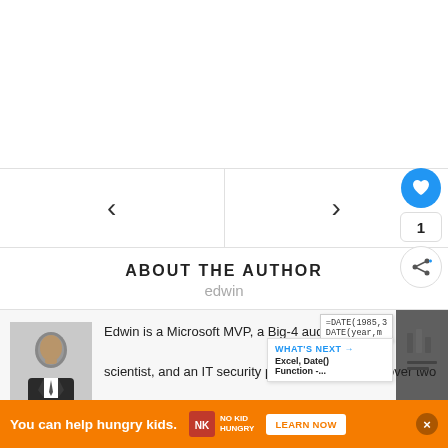[Figure (screenshot): White space at top of page (advertisement area, blank)]
[Figure (screenshot): Navigation bar with left arrow (previous) and right arrow (next) buttons separated by vertical line]
ABOUT THE AUTHOR
edwin
[Figure (photo): Small portrait photo of Edwin, a man in a suit with hand on chin]
Edwin is a Microsoft MVP, a Big-4 audit firm scientist, and an IT security professional. He has over two
[Figure (screenshot): What's Next overlay panel showing 'Excel, Date() Function -...' teaser with formula preview box]
[Figure (screenshot): Floating UI: heart/like button (blue circle), count badge showing 1, share button]
[Figure (screenshot): Advertisement banner: orange background, 'You can help hungry kids.' NO KID HUNGRY LEARN NOW, with X close button]